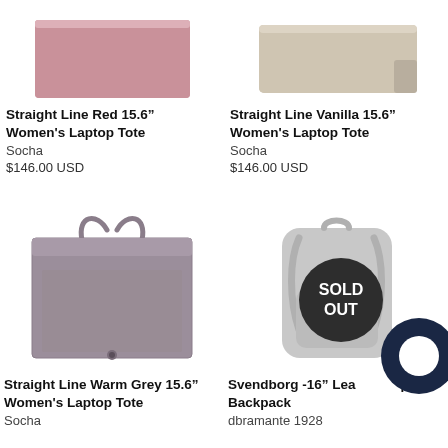[Figure (photo): Straight Line Red 15.6 inch Women's Laptop Tote - pink/red flat tote bag]
Straight Line Red 15.6" Women's Laptop Tote
Socha
$146.00 USD
[Figure (photo): Straight Line Vanilla 15.6 inch Women's Laptop Tote - beige/cream flat tote bag]
Straight Line Vanilla 15.6" Women's Laptop Tote
Socha
$146.00 USD
[Figure (photo): Straight Line Warm Grey 15.6 inch Women's Laptop Tote - grey structured tote bag with handles]
Straight Line Warm Grey 15.6" Women's Laptop Tote
Socha
[Figure (photo): Svendborg 16 inch Leather Laptop Backpack - silver/grey backpack with SOLD OUT badge overlay]
Svendborg -16" Leather Laptop Backpack
dbramante 1928